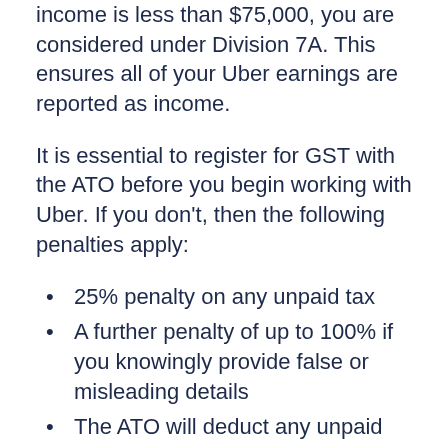income is less than $75,000, you are considered under Division 7A. This ensures all of your Uber earnings are reported as income.
It is essential to register for GST with the ATO before you begin working with Uber. If you don't, then the following penalties apply:
25% penalty on any unpaid tax
A further penalty of up to 100% if you knowingly provide false or misleading details
The ATO will deduct any unpaid tax from any tax debts.